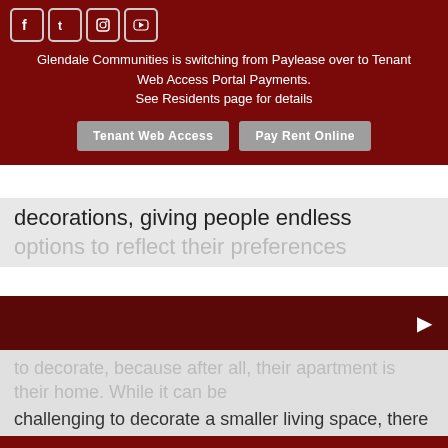[Figure (logo): Social media icons: Facebook, Twitter, Instagram, YouTube in white on dark red header]
Glendale Communities is switching from Paylease over to Tenant Web Access Portal Payments. See Residents page for details
Tenant Web Access | Pay Rent Online
decorations, giving people endless options to reflect their preferences
to decorate, because after all, their apartment is their home. While it can be challenging to decorate a smaller living space, there are plenty of ways to do...
Read more »